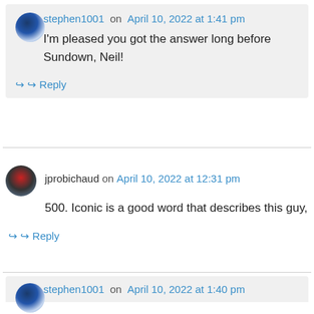stephen1001 on April 10, 2022 at 1:41 pm
I'm pleased you got the answer long before Sundown, Neil!
↪ Reply
jprobichaud on April 10, 2022 at 12:31 pm
500. Iconic is a good word that describes this guy,
↪ Reply
stephen1001 on April 10, 2022 at 1:40 pm